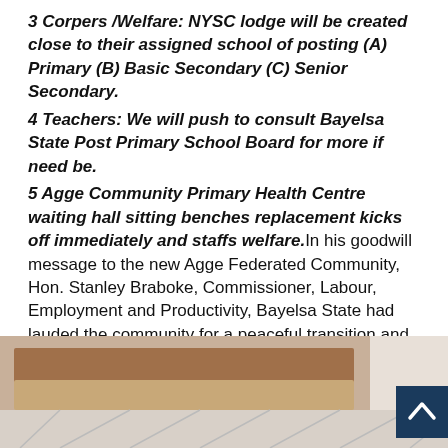3 Corpers /Welfare: NYSC lodge will be created close to their assigned school of posting (A) Primary (B) Basic Secondary  (C) Senior Secondary.
4 Teachers: We will push to consult Bayelsa State Post Primary School Board for more if need be.
5 Agge Community Primary Health Centre waiting hall sitting benches replacement kicks off immediately and staffs welfare. In his goodwill message to the new Agge Federated Community, Hon. Stanley Braboke, Commissioner,  Labour, Employment and Productivity, Bayelsa State had lauded the community for a peaceful transition and the organisation of the inauguration ceremony, stating that history has been made.
[Figure (photo): Partial view of what appears to be wooden planks or boards, likely at the community health centre or related venue, with a dark blue scroll-to-top button overlay in the bottom right corner.]